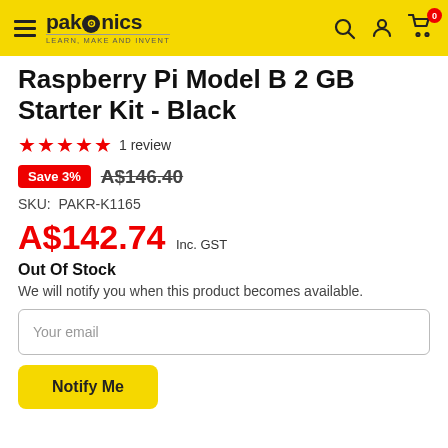pakronics - Learn, Make and Invent
Raspberry Pi Model B 2 GB Starter Kit - Black
★★★★★ 1 review
Save 3%  A$146.40
SKU: PAKR-K1165
A$142.74  Inc. GST
Out Of Stock
We will notify you when this product becomes available.
Your email
Notify Me